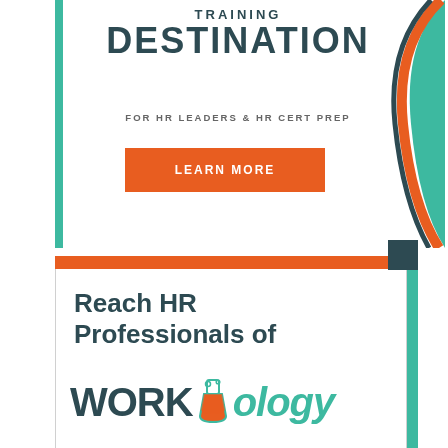TRAINING DESTINATION
FOR HR LEADERS & HR CERT PREP
LEARN MORE
[Figure (illustration): Decorative curved swoosh design in teal, orange and dark charcoal on the right side of the top ad block]
[Figure (logo): Workology logo with flask icon between WORK and ology text]
Reach HR Professionals of Workology